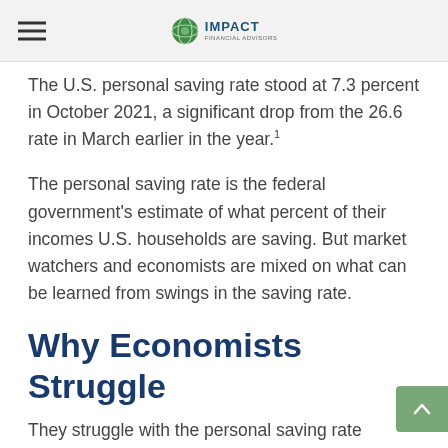IMPACT FINANCIAL ADVISORS
The U.S. personal saving rate stood at 7.3 percent in October 2021, a significant drop from the 26.6 rate in March earlier in the year.¹
The personal saving rate is the federal government’s estimate of what percent of their incomes U.S. households are saving. But market watchers and economists are mixed on what can be learned from swings in the saving rate.
Why Economists Struggle
They struggle with the personal saving rate because it’s a derivative number – that is, it’s not measured directly but by the Bureau of Economic Analysis